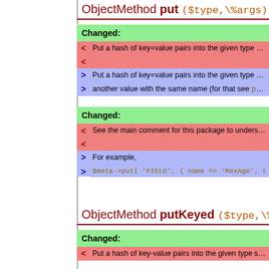ObjectMethod put ($type,\%args)
Changed:
< Put a hash of key=value pairs into the given type set in this m
<
> Put a hash of key=value pairs into the given type set in this m
> another value with the same name (for that see putKeyed)
Changed:
< See the main comment for this package to understand how m
<
> For example,
> $meta->put( 'FIELD', { name => 'MaxAge', title => 'Max
ObjectMethod putKeyed ($type,\%args)
Changed:
< Put a hash of key-value pairs into the given type set in this